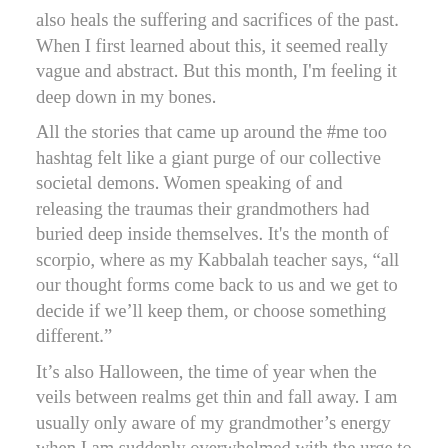also heals the suffering and sacrifices of the past. When I first learned about this, it seemed really vague and abstract. But this month, I'm feeling it deep down in my bones.
All the stories that came up around the #me too hashtag felt like a giant purge of our collective societal demons. Women speaking of and releasing the traumas their grandmothers had buried deep inside themselves. It's the month of scorpio, where as my Kabbalah teacher says, “all our thought forms come back to us and we get to decide if we'll keep them, or choose something different.”
It’s also Halloween, the time of year when the veils between realms get thin and fall away. I am usually only aware of my grandmother’s energy when I am suddenly overwhelmed with the urge to do something really traditional and out character, like get married or wear a conservative high neck “blouse.”
But lately I can feel her urging me to speak up and out